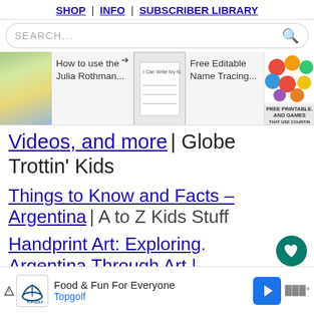SHOP | INFO | SUBSCRIBER LIBRARY
SEARCH...
[Figure (screenshot): Carousel of educational resource thumbnails: Julia Rothman book covers, Free Editable Name Tracing worksheet, Free Printable and Games colorful candy balls image, and a partially visible Bears item]
Videos, and more | Globe Trottin' Kids
Things to Know and Facts – Argentina | A to Z Kids Stuff
Handprint Art: Exploring
Argentina Through Art |
Food & Fun For Everyone  Topgolf